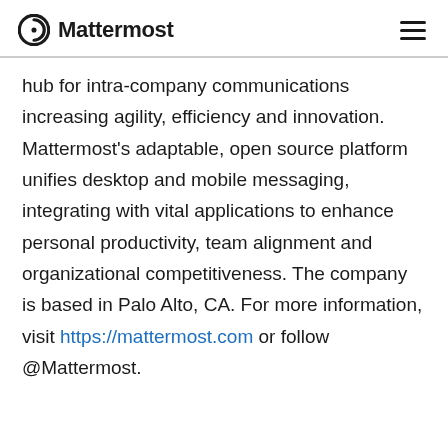Mattermost
hub for intra-company communications increasing agility, efficiency and innovation. Mattermost’s adaptable, open source platform unifies desktop and mobile messaging, integrating with vital applications to enhance personal productivity, team alignment and organizational competitiveness. The company is based in Palo Alto, CA. For more information, visit https://mattermost.com or follow @Mattermost.